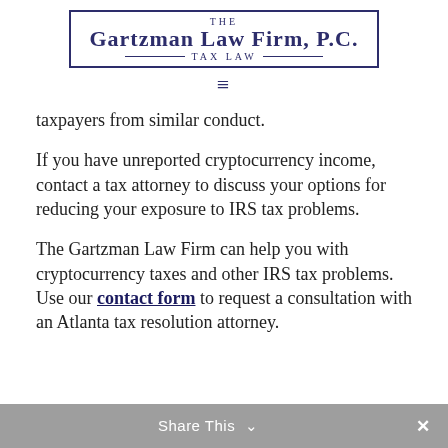[Figure (logo): The Gartzman Law Firm, P.C. Tax Law logo with decorative border]
taxpayers from similar conduct.
If you have unreported cryptocurrency income, contact a tax attorney to discuss your options for reducing your exposure to IRS tax problems.
The Gartzman Law Firm can help you with cryptocurrency taxes and other IRS tax problems. Use our contact form to request a consultation with an Atlanta tax resolution attorney.
Share This ✓  ✕